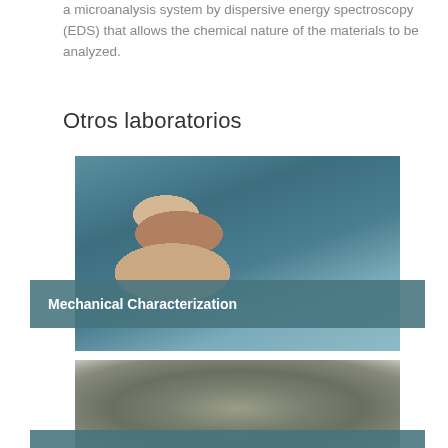a microanalysis system by dispersive energy spectroscopy (EDS) that allows the chemical nature of the materials to be analyzed.
Otros laboratorios
[Figure (photo): A researcher wearing glasses observing a mechanical testing machine pressing down on a specimen in a laboratory setting.]
Mechanical Characterization
[Figure (photo): Close-up photograph of a rough rocky mineral specimen with grey and greenish textures.]